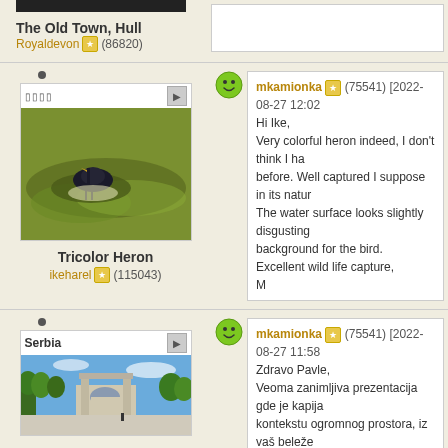[Figure (screenshot): Top partial section showing a photo card with black top bar, title 'The Old Town, Hull', author 'Royaldevon' with star badge (86820)]
The Old Town, Hull
Royaldevon (86820)
[Figure (photo): Photo of a dark bird (heron) swimming in murky water with algae]
Tricolor Heron
ikeharel (115043)
mkamionka (75541) [2022-08-27 12:02
Hi Ike,
Very colorful heron indeed, I don't think I ha before. Well captured I suppose in its natur The water surface looks slightly disgusting background for the bird.
Excellent wild life capture,
M
[Figure (photo): Photo of a large outdoor plaza or monument in Serbia with trees and open sky]
Serbia
mkamionka (75541) [2022-08-27 11:58
Zdravo Pavle,
Veoma zanimljiva prezentacija gde je kapija kontekstu ogromnog prostora, iz vaš beleže kao džnovski trg.
Veoma dobro viđen i uhvaćen,
M